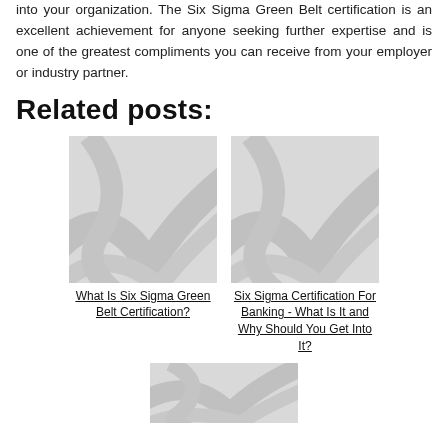into your organization. The Six Sigma Green Belt certification is an excellent achievement for anyone seeking further expertise and is one of the greatest compliments you can receive from your employer or industry partner.
Related posts:
[Figure (photo): Placeholder image with diagonal swoosh pattern in light gray]
What Is Six Sigma Green Belt Certification?
[Figure (photo): Placeholder image with diagonal swoosh pattern in light gray]
Six Sigma Certification For Banking - What Is It and Why Should You Get Into It?
[Figure (photo): Partial placeholder image with diagonal swoosh pattern in light gray, partially visible at bottom]